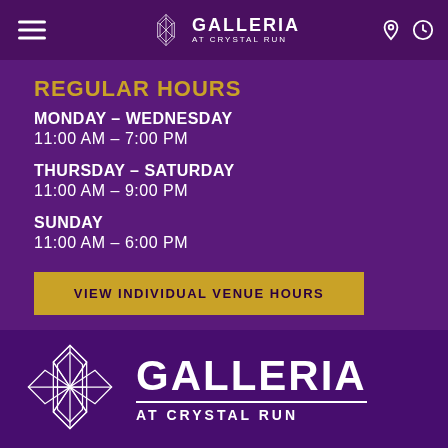Galleria at Crystal Run
REGULAR HOURS
MONDAY – WEDNESDAY
11:00 AM – 7:00 PM
THURSDAY – SATURDAY
11:00 AM – 9:00 PM
SUNDAY
11:00 AM – 6:00 PM
VIEW INDIVIDUAL VENUE HOURS
[Figure (logo): Galleria at Crystal Run logo with crystal/gem icon]
GALLERIA AT CRYSTAL RUN